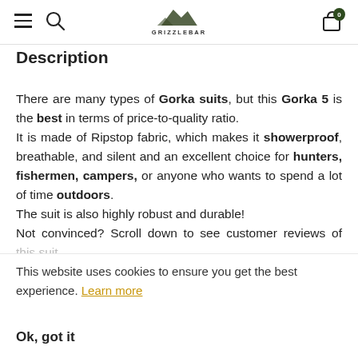Grizzlybar navigation bar with hamburger menu, search icon, logo, and cart with 0 items
Description
There are many types of Gorka suits, but this Gorka 5 is the best in terms of price-to-quality ratio.
It is made of Ripstop fabric, which makes it showerproof, breathable, and silent and an excellent choice for hunters, fishermen, campers, or anyone who wants to spend a lot of time outdoors.
The suit is also highly robust and durable!
Not convinced? Scroll down to see customer reviews of this suit.
This website uses cookies to ensure you get the best experience. Learn more
Ok, got it